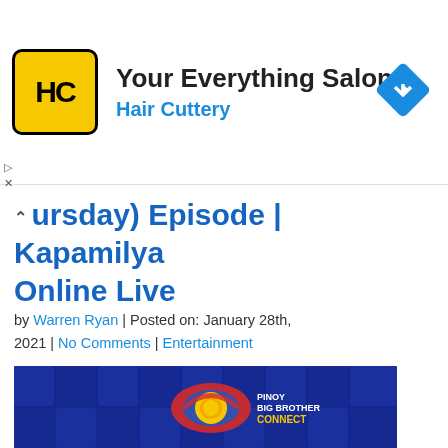[Figure (logo): Hair Cuttery advertisement banner with HC logo, text 'Your Everything Salon' and 'Hair Cuttery', and a blue diamond navigation arrow icon on the right.]
(Thursday) Episode | Kapamilya Online Live
by Warren Ryan | Posted on: January 28th, 2021 | No Comments | Entertainment
[Figure (photo): Pinoy Big Brother Connect promotional image with 'CONNECTED NA TAYO' text on a blue background with faces collage. Privacy & Cookies Policy overlay at bottom right.]